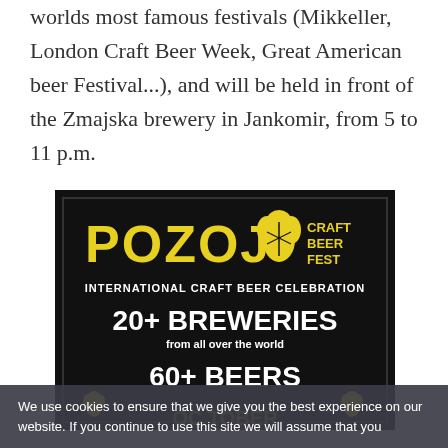worlds most famous festivals (Mikkeller, London Craft Beer Week, Great American beer Festival...), and will be held in front of the Zmajska brewery in Jankomir, from 5 to 11 p.m.
[Figure (illustration): Pozoj Craft Beer Fest promo poster on black background. Yellow bold text reads POZOJ with a hop icon and CRAFT BEER FEST. Below: INTERNATIONAL CRAFT BEER CELEBRATION, 20+ BREWERIES from all over the world, 60+ BEERS with hop decorations.]
We use cookies to ensure that we give you the best experience on our website. If you continue to use this site we will assume that you